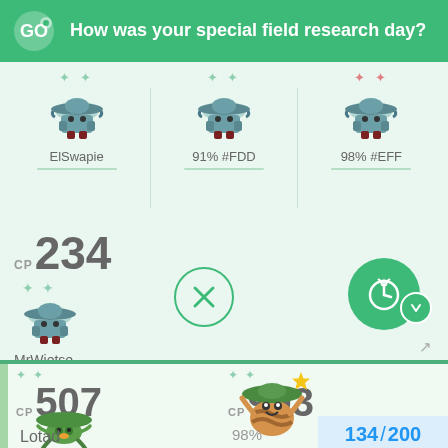How was your special field research day?
ElSwapie
91% #FDD
98% #EFF
CP 234
MrWietse
[Figure (screenshot): Pokemon GO trade interface showing three Swampert Pokemon cards labeled ElSwapie, 91% #FDD, and 98% #EFF, with a CP 234 Swampert for MrWietse, trade buttons (X and timer), and two result Pokemon: Lotad CP 507 and a Pokemon CP 993 at 98%]
CP 507
Lotad
CP 993
98%
134 / 200